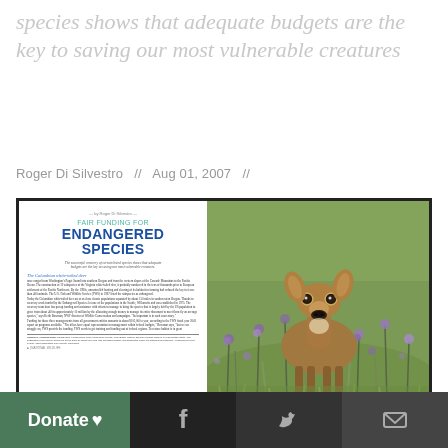species shows that adequate budgets are the key to saving our most vulnerable creatures
Roger Di Silvestro  //  Aug 01, 2007  //
[Figure (photo): Magazine page spread showing 'Fair Funding for Endangered Species' article title alongside a photograph of a Columbian white-tailed deer in a field of purple wildflowers]
Donate ♥  [Facebook icon]  [Twitter icon]  [Email icon]